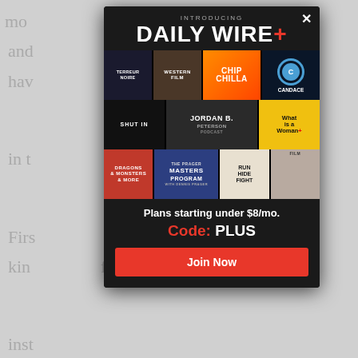[Figure (screenshot): Daily Wire+ promotional modal overlay on a webpage background. Shows 'INTRODUCING DAILY WIRE+' header, a 3x3 grid of show thumbnails including Chip Chilla, Candace, Shut In, Jordan Peterson Podcast, What is a Woman+, Dragons & Monsters & More, Masters Program, Run Hide Fight. Bottom section shows 'Plans starting under $8/mo.' and 'Code: PLUS' with a 'Join Now' button.]